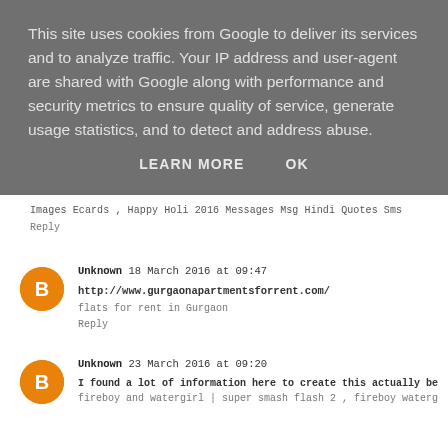This site uses cookies from Google to deliver its services and to analyze traffic. Your IP address and user-agent are shared with Google along with performance and security metrics to ensure quality of service, generate usage statistics, and to detect and address abuse.
LEARN MORE   OK
Images Ecards , Happy Holi 2016 Messages Msg Hindi Quotes Sms
Reply
[Figure (illustration): Orange circular Blogger avatar icon with white 'B' letter]
Unknown 18 March 2016 at 09:47
http://www.gurgaonapartmentsforrent.com/
flats for rent in Gurgaon
Reply
[Figure (illustration): Orange circular Blogger avatar icon with white 'B' letter]
Unknown 23 March 2016 at 09:20
I found a lot of information here to create this actually best for information.
fireboy and watergirl | super smash flash 2 , fireboy watergirl |